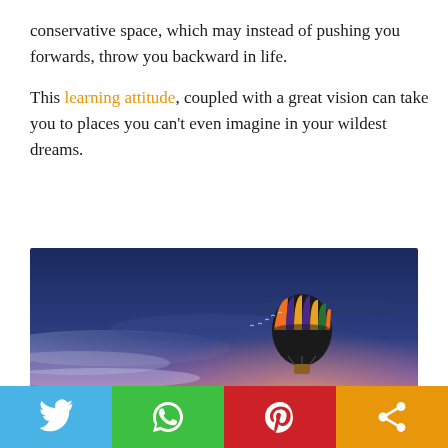conservative space, which may instead of pushing you forwards, throw you backward in life.

This learning attitude, coupled with a great vision can take you to places you can't even imagine in your wildest dreams.
[Figure (photo): A hot air balloon with colorful stripes (orange, purple, black, green) floating in a dramatic twilight sky with blue-purple clouds and a warm coral horizon glow.]